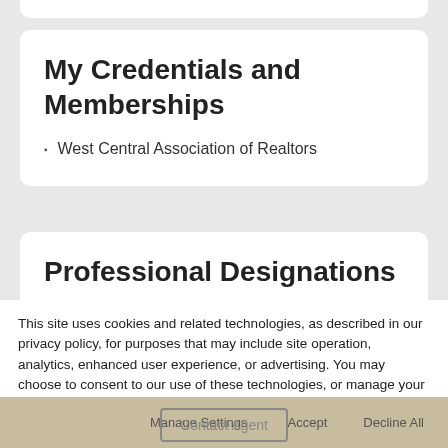My Credentials and Memberships
West Central Association of Realtors
Professional Designations
REALTOR, National Association of REALTORS
This site uses cookies and related technologies, as described in our privacy policy, for purposes that may include site operation, analytics, enhanced user experience, or advertising. You may choose to consent to our use of these technologies, or manage your own preferences.
Contact Agent | Manage Settings | Accept | Decline All